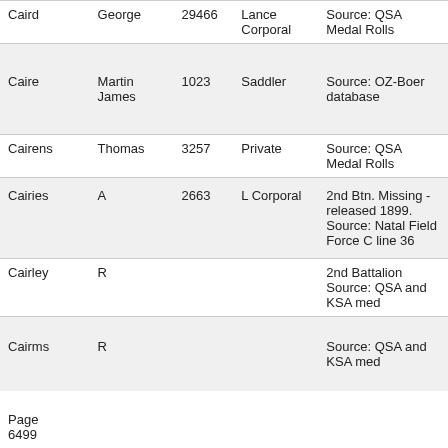| Surname | First Name | Number | Rank | Source |
| --- | --- | --- | --- | --- |
| Caird | George | 29466 | Lance Corporal | Source: QSA Medal Rolls |
| Caire | Martin James | 1023 | Saddler | Source: OZ-Boer database |
| Cairens | Thomas | 3257 | Private | Source: QSA Medal Rolls |
| Cairies | A | 2663 | L Corporal | 2nd Btn. Missing - released 1899.
Source: Natal Field Force C line 36 |
| Cairley | R |  |  | 2nd Battalion
Source: QSA and KSA med |
| Cairms | R |  |  | Source: QSA and KSA med |
Page 6499